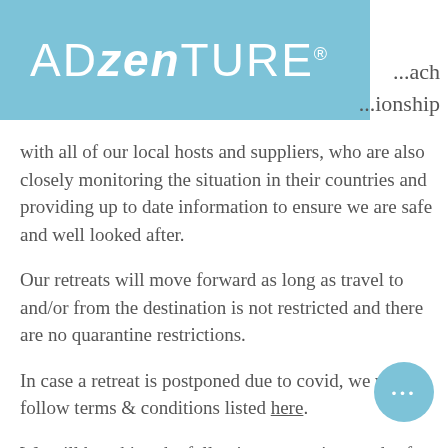[Figure (logo): ADzenTURE logo in white text on light blue/teal background banner]
...ach ...ionship with all of our local hosts and suppliers, who are also closely monitoring the situation in their countries and providing up to date information to ensure we are safe and well looked after.
Our retreats will move forward as long as travel to and/or from the destination is not restricted and there are no quarantine restrictions.
In case a retreat is postponed due to covid, we will follow terms & conditions listed here.
We will be taking the following precautions and safety measures on every retreat.
Before Booking